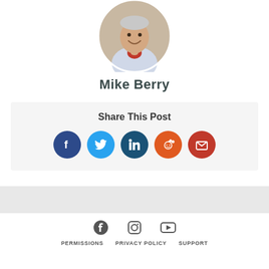[Figure (photo): Circular profile photo of Mike Berry, a smiling man in a light blue shirt with wood background]
Mike Berry
Share This Post
[Figure (infographic): Row of 5 social share buttons: Facebook (dark blue), Twitter (light blue), LinkedIn (dark teal blue), Reddit (orange-red), Email (red)]
[Figure (infographic): Footer social icons: Facebook, Instagram, YouTube]
PERMISSIONS   PRIVACY POLICY   SUPPORT